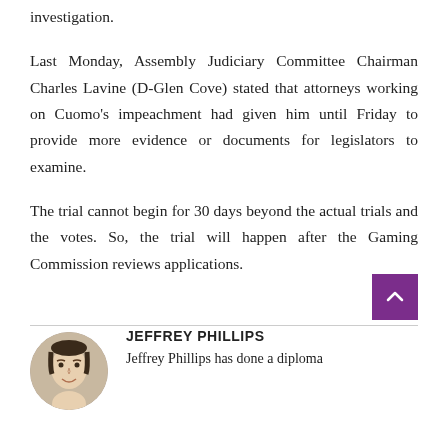investigation.
Last Monday, Assembly Judiciary Committee Chairman Charles Lavine (D-Glen Cove) stated that attorneys working on Cuomo's impeachment had given him until Friday to provide more evidence or documents for legislators to examine.
The trial cannot begin for 30 days beyond the actual trials and the votes. So, the trial will happen after the Gaming Commission reviews applications.
JEFFREY PHILLIPS
Jeffrey Phillips has done a diploma